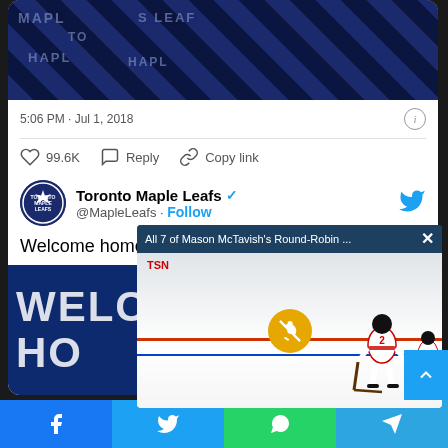[Figure (screenshot): Partial tweet showing Toronto Maple Leafs jersey/merchandise image]
5:06 PM · Jul 1, 2018
99.6K  Reply  Copy link
Read 3.8K replies
Toronto Maple Leafs @MapleLeafs · Follow
Welcome home
[Figure (screenshot): Partial video overlay showing Mason McTavish Round-Robin hockey game on TSN with mute button and player on ice]
All 7 of Mason McTavish's Round-Robin ...
[Figure (screenshot): Bottom share bar with Facebook, Twitter, WhatsApp, Telegram buttons]